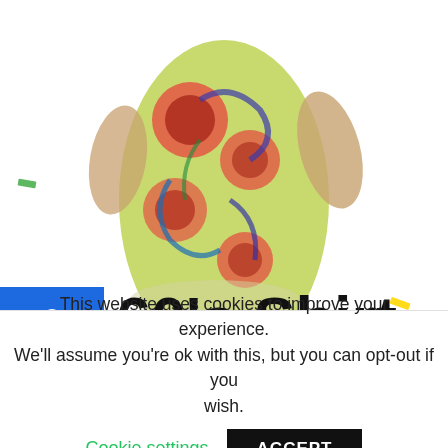[Figure (photo): Partial view of a person wearing a colorful 60s-style psychedelic floral patterned shirt costume, showing torso area against white background with colorful confetti scattered around]
60's Shirt Men's Costume
This website uses cookies to improve your experience. We'll assume you're ok with this, but you can opt-out if you wish.
Cookie settings   ACCEPT